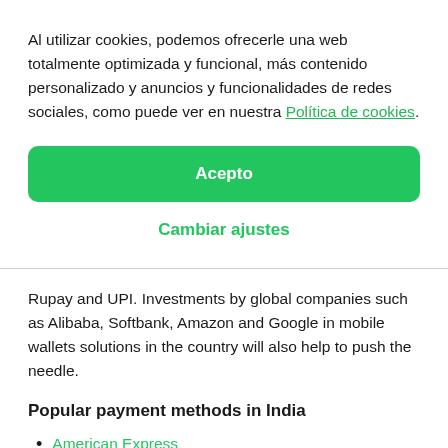Al utilizar cookies, podemos ofrecerle una web totalmente optimizada y funcional, más contenido personalizado y anuncios y funcionalidades de redes sociales, como puede ver en nuestra Política de cookies.
Acepto
Cambiar ajustes
Rupay and UPI. Investments by global companies such as Alibaba, Softbank, Amazon and Google in mobile wallets solutions in the country will also help to push the needle.
Popular payment methods in India
American Express